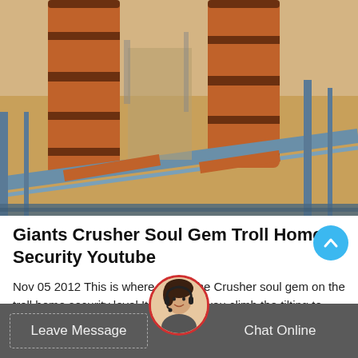[Figure (photo): Aerial view of industrial rotary kiln equipment and conveyor structures at a construction/mining site with orange cylindrical drums, blue steel scaffolding, and sandy terrain.]
Giants Crusher Soul Gem Troll Home Security Youtube
Nov 05 2012 This is where to find the Crusher soul gem on the troll home security level Its just after you climb the tilting to and have spoken with Cali and Flynn well i say speak to they...
[Figure (photo): Customer support avatar: a young woman wearing a headset, circular crop with red border, used as chat widget icon.]